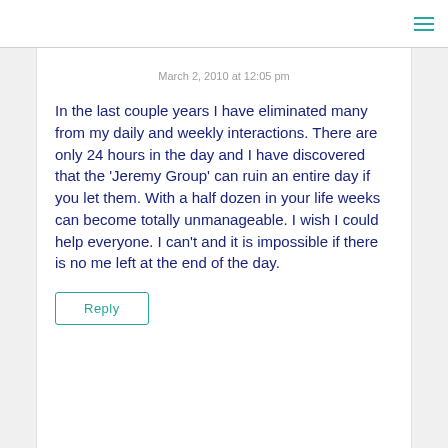March 2, 2010 at 12:05 pm
In the last couple years I have eliminated many from my daily and weekly interactions. There are only 24 hours in the day and I have discovered that the 'Jeremy Group' can ruin an entire day if you let them. With a half dozen in your life weeks can become totally unmanageable. I wish I could help everyone. I can't and it is impossible if there is no me left at the end of the day.
Reply